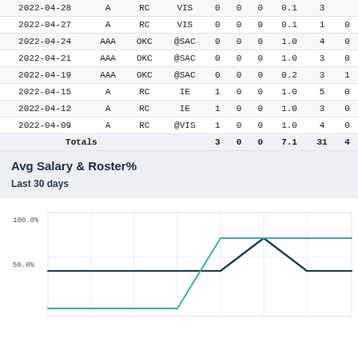| Date | Lvl | Team | Opp | W | L | SV | IP | BF |  |
| --- | --- | --- | --- | --- | --- | --- | --- | --- | --- |
| 2022-04-28 | A | RC | VIS | 0 | 0 | 0 | 0.1 | 3 |  |
| 2022-04-27 | A | RC | VIS | 0 | 0 | 0 | 0.1 | 1 | 0 |
| 2022-04-24 | AAA | OKC | @SAC | 0 | 0 | 0 | 1.0 | 4 | 0 |
| 2022-04-21 | AAA | OKC | @SAC | 0 | 0 | 0 | 1.0 | 3 | 0 |
| 2022-04-19 | AAA | OKC | @SAC | 0 | 0 | 0 | 0.2 | 3 | 1 |
| 2022-04-15 | A | RC | IE | 1 | 0 | 0 | 1.0 | 5 | 0 |
| 2022-04-12 | A | RC | IE | 1 | 0 | 0 | 1.0 | 3 | 0 |
| 2022-04-09 | A | RC | @VIS | 1 | 0 | 0 | 1.0 | 4 | 0 |
| Totals |  |  |  | 3 | 0 | 0 | 7.1 | 31 | 4 |
Avg Salary & Roster%
Last 30 days
[Figure (line-chart): Line chart showing Roster% over last 30 days, with two lines (dark teal/navy and green). Values range from ~44% to ~75%, with a rise around mid-period and a drop near the end. Y-axis shows 50.0% and 100.0% labels.]